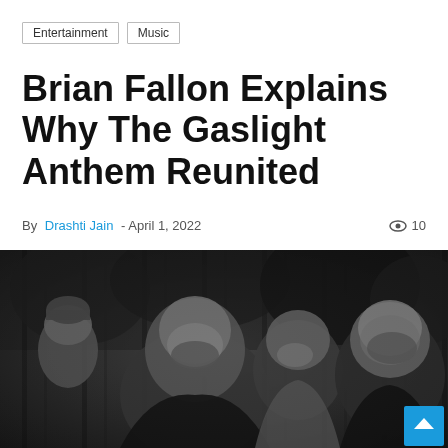Entertainment | Music
Brian Fallon Explains Why The Gaslight Anthem Reunited
By Drashti Jain - April 1, 2022  ● 10
[Figure (photo): Black and white photo of four members of The Gaslight Anthem outdoors among trees. The two central figures are smiling and laughing, one holds his hand near his face. The leftmost person wears a beanie. The photo is taken in a wooded setting.]